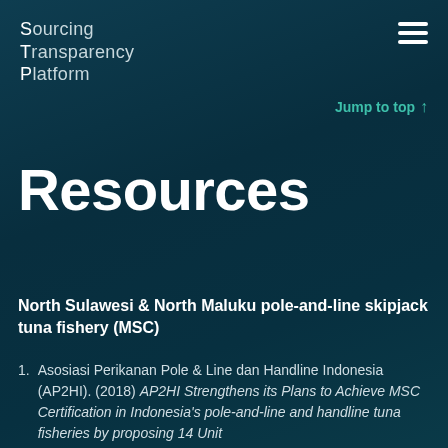Sourcing Transparency Platform
Resources
North Sulawesi & North Maluku pole-and-line skipjack tuna fishery (MSC)
1. Asosiasi Perikanan Pole & Line dan Handline Indonesia (AP2HI). (2018) AP2HI Strengthens its Plans to Achieve MSC Certification in Indonesia's pole-and-line and handline tuna fisheries by proposing 14 Unit